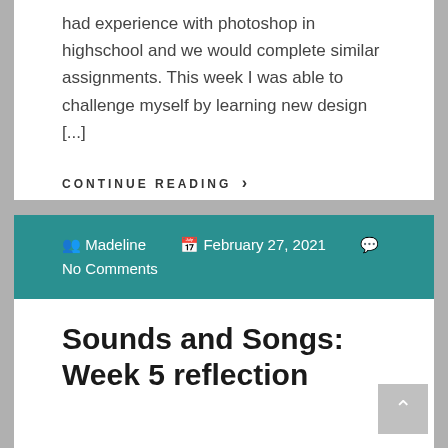had experience with photoshop in highschool and we would complete similar assignments. This week I was able to challenge myself by learning new design [...]
CONTINUE READING ›
Madeline   February 27, 2021   No Comments
Sounds and Songs: Week 5 reflection